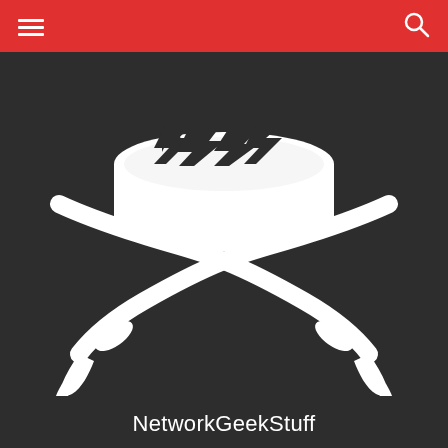[Figure (logo): NetworkGeekStuff logo: a Cisco-style router disc with crossed X marks (angry face) above two crossed cutlass swords, styled as a pirate skull-and-crossbones on a dark background]
NetworkGeekStuff